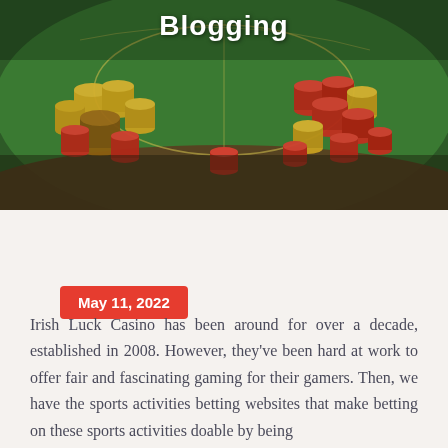[Figure (photo): A casino poker table with green felt covered in stacks of red and yellow casino chips, viewed from above at an angle.]
Blogging
May 11, 2022
Irish Luck Casino has been around for over a decade, established in 2008. However, they've been hard at work to offer fair and fascinating gaming for their gamers. Then, we have the sports activities betting websites that make betting on these sports activities doable by being